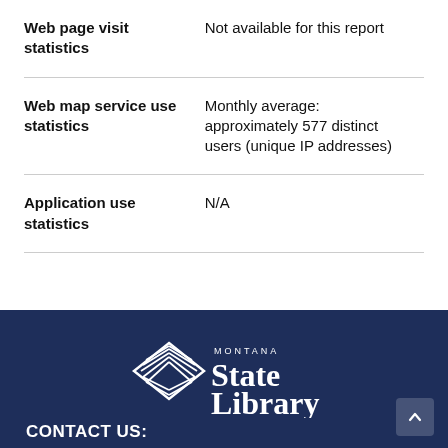| Web page visit statistics | Not available for this report |
| Web map service use statistics | Monthly average: approximately 577 distinct users (unique IP addresses) |
| Application use statistics | N/A |
[Figure (logo): Montana State Library logo — white book/pages icon with 'MONTANA State Library' text in white on dark navy background]
CONTACT US: